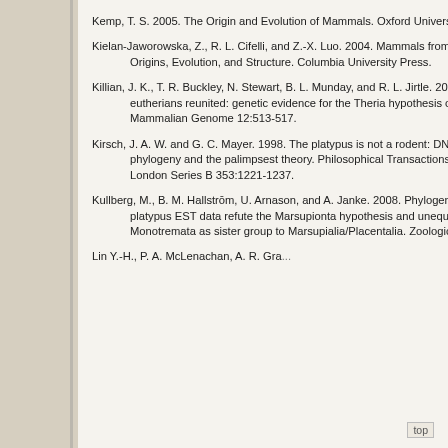Kemp, T. S. 2005. The Origin and Evolution of Mammals. Oxford University Press.
Kielan-Jaworowska, Z., R. L. Cifelli, and Z.-X. Luo. 2004. Mammals from the Age of Dinosaurs: Origins, Evolution, and Structure. Columbia University Press.
Killian, J. K., T. R. Buckley, N. Stewart, B. L. Munday, and R. L. Jirtle. 2001. Marsupials and eutherians reunited: genetic evidence for the Theria hypothesis of mammalian evolution. Mammalian Genome 12:513-517.
Kirsch, J. A. W. and G. C. Mayer. 1998. The platypus is not a rodent: DNA hybridization, amniote phylogeny and the palimpsest theory. Philosophical Transactions of the Royal Society of London Series B 353:1221-1237.
Kullberg, M., B. M. Hallström, U. Arnason, and A. Janke. 2008. Phylogenetic analysis of 1.5 Mbp and platypus EST data refute the Marsupionta hypothesis and unequivocally support Monotremata as sister group to Marsupialia/Placentalia. Zoologica Scripta 37(2):115–127.
Lin Y.-H., P. A. McLenachan, A. R. Gra, M. J. Philli, R. Ste, M. ...